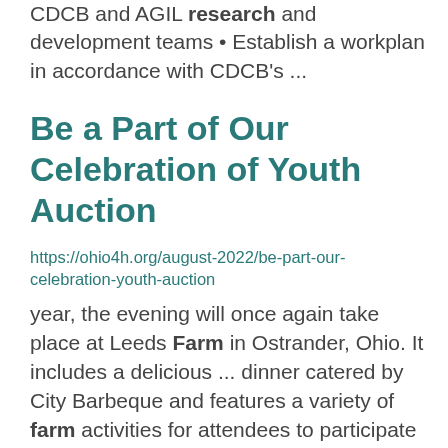CDCB and AGIL research and development teams • Establish a workplan in accordance with CDCB's ...
Be a Part of Our Celebration of Youth Auction
https://ohio4h.org/august-2022/be-part-our-celebration-youth-auction
year, the evening will once again take place at Leeds Farm in Ostrander, Ohio. It includes a delicious ... dinner catered by City Barbeque and features a variety of farm activities for attendees to participate ... forward to seeing you at Leeds Farm this fall! ...